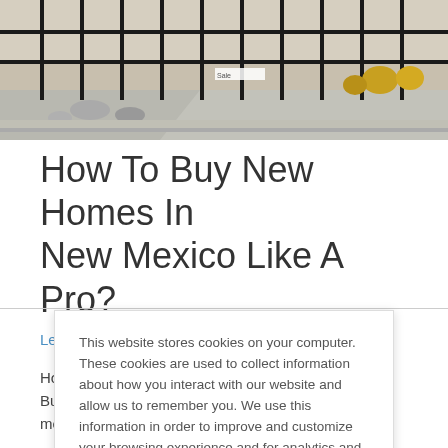[Figure (photo): Exterior photo showing a residential property with wrought iron fence, driveway, rocks, and desert landscaping with yellow flowering plants.]
How To Buy New Homes In New Mexico Like A Pro?
Leave a Comment / January 24, 2021
How To Buy New Homes In New Mexico Like A Pro? Buying a home by the best home builders in new mexico is not only an
This website stores cookies on your computer. These cookies are used to collect information about how you interact with our website and allow us to remember you. We use this information in order to improve and customize your browsing experience and for analytics and metrics about our visitors both on this website and other media.
Accept